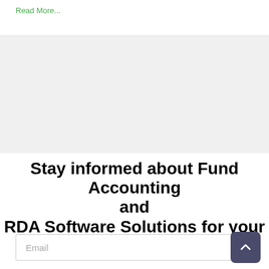Read More...
Stay informed about Fund Accounting and
RDA Software Solutions for your organization.
Email